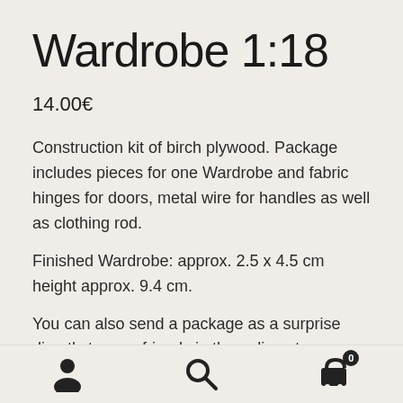Wardrobe 1:18
14.00€
Construction kit of birch plywood. Package includes pieces for one Wardrobe and fabric hinges for doors, metal wire for handles as well as clothing rod.
Finished Wardrobe: approx. 2.5 x 4.5 cm height approx. 9.4 cm.
You can also send a package as a surprise directly to your friend via the online store one (Choose delivery at checkout
user icon | search icon | cart icon (0)